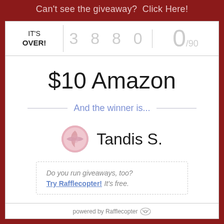Can't see the giveaway?  Click Here!
IT'S OVER!
3 8 8 0
0/90
$10 Amazon
And the winner is...
[Figure (photo): Round avatar/profile image with pink swirled pattern]
Tandis S.
Do you run giveaways, too? Try Rafflecopter! It's free.
powered by Rafflecopter